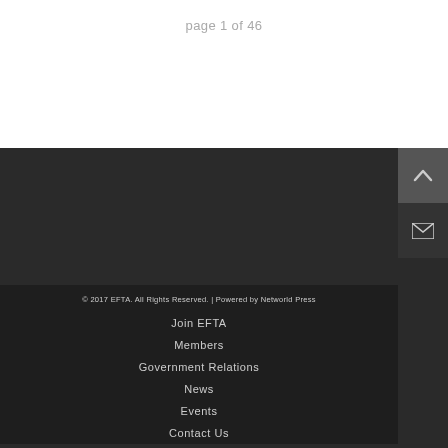page 1 of 46
© 2017 EFTA. All Rights Reserved. | Powered by Networld Press
Join EFTA
Members
Government Relations
News
Events
Contact Us